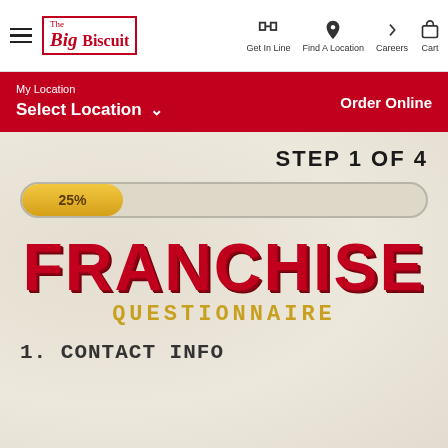The Big Biscuit | Get In Line | Find A Location | Careers | Cart
My Location
Select Location
Order Online
STEP 1 OF 4
[Figure (infographic): Progress bar showing 25% completion]
FRANCHISE
QUESTIONNAIRE
1. CONTACT INFO